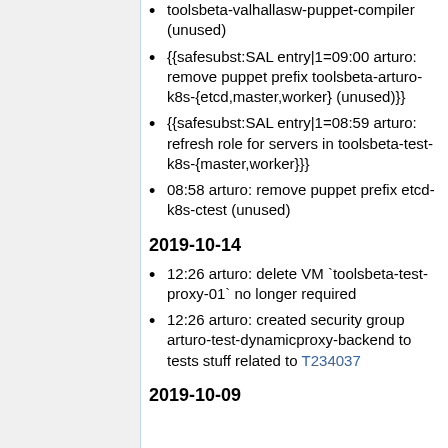toolsbeta-valhallasw-puppet-compiler (unused)
{{safesubst:SAL entry|1=09:00 arturo: remove puppet prefix toolsbeta-arturo-k8s-{etcd,master,worker} (unused)}}
{{safesubst:SAL entry|1=08:59 arturo: refresh role for servers in toolsbeta-test-k8s-{master,worker}}}
08:58 arturo: remove puppet prefix etcd-k8s-ctest (unused)
2019-10-14
12:26 arturo: delete VM `toolsbeta-test-proxy-01` no longer required
12:26 arturo: created security group arturo-test-dynamicproxy-backend to tests stuff related to T234037
2019-10-09